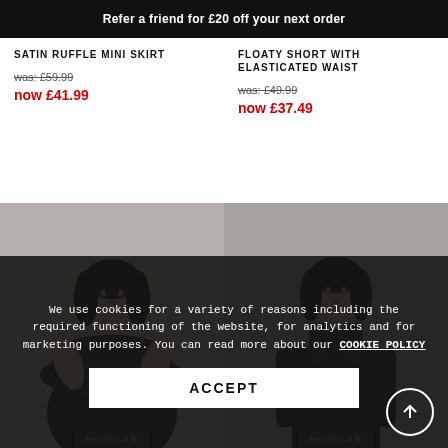Refer a friend for £20 off your next order
SATIN RUFFLE MINI SKIRT
was: £59.99
now £41.99
FLOATY SHORT WITH ELASTICATED WAIST
was: £49.99
now £37.49
[Figure (photo): Model wearing black ruffle off-shoulder dress, grey background, POPULAR badge at bottom]
[Figure (photo): Model wearing black blazer dress, grey background, POPULAR badge at bottom]
We use cookies for a variety of reasons including the required functioning of the website, for analytics and for marketing purposes. You can read more about our COOKIE POLICY
ACCEPT